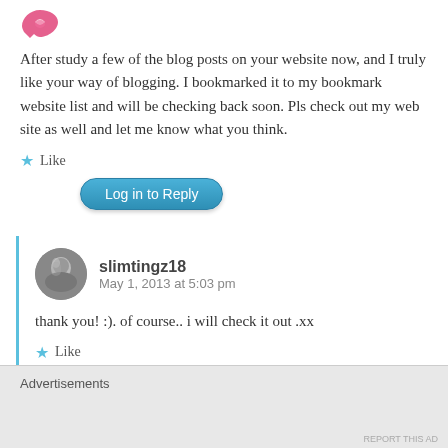[Figure (illustration): Pink/magenta decorative logo icon at top left]
After study a few of the blog posts on your website now, and I truly like your way of blogging. I bookmarked it to my bookmark website list and will be checking back soon. Pls check out my web site as well and let me know what you think.
★ Like
Log in to Reply
[Figure (photo): Circular avatar photo of slimtingz18 commenter]
slimtingz18
May 1, 2013 at 5:03 pm
thank you! :). of course.. i will check it out .xx
★ Like
Log in to Reply
Advertisements